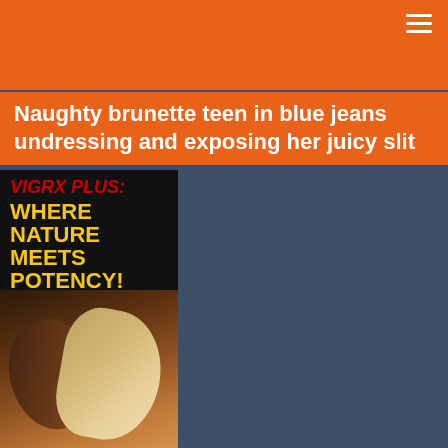Naughty brunette teen in blue jeans undressing and exposing her juicy slit
[Figure (illustration): Advertisement image: Black background with red italic text 'VIGRX PLUS:' and yellow bold text 'WHERE NATURE MEETS POTENCY!' overlaid on a photo of a couple in an intimate pose, woman with blonde hair, man with dark hair.]